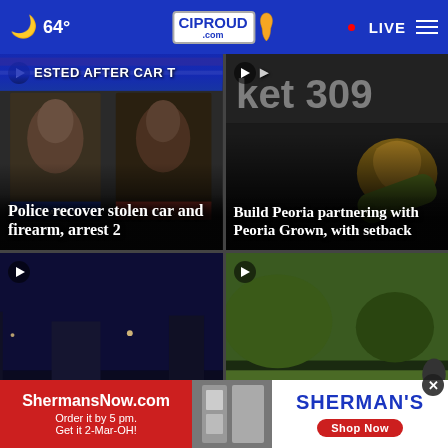64° CIProud.com LIVE
[Figure (screenshot): News card: Two mugshot photos side by side, partial headline 'ESTED AFTER CAR T' visible at top, article title 'Police recover stolen car and firearm, arrest 2' overlaid on image]
[Figure (screenshot): News card: Image of produce/food at Market 309, partial headline visible, article title 'Build Peoria partnering with Peoria Grown, with setback' overlaid on image]
[Figure (screenshot): News card: Night scene with lights, play button visible]
[Figure (screenshot): News card: Outdoor park scene with people, play button visible]
[Figure (other): Advertisement banner: ShermansNow.com - Order it by 5 pm. Get it 2-Mar-OH! | SHERMAN'S Shop Now button]